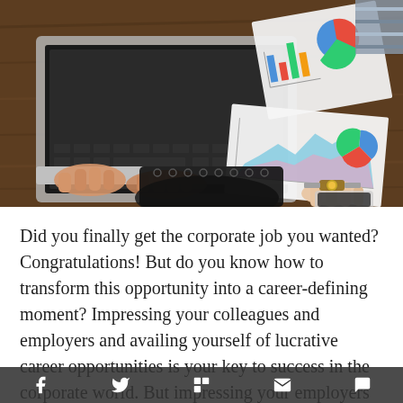[Figure (photo): Overhead view of people working at a wooden desk with a laptop, charts/graphs printed on paper, and a notebook. Business meeting scene.]
Did you finally get the corporate job you wanted? Congratulations! But do you know how to transform this opportunity into a career-defining moment? Impressing your colleagues and employers and availing yourself of lucrative career opportunities is your key to success in the corporate world. But impressing your employers and constantly looking for new opportunities can feel like an impossible task especially if you're new to the corporate world.